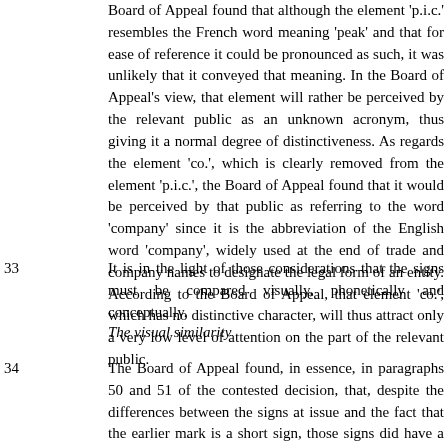Board of Appeal found that although the element 'p.i.c.' resembles the French word meaning 'peak' and that for ease of reference it could be pronounced as such, it was unlikely that it conveyed that meaning. In the Board of Appeal's view, that element will rather be perceived by the relevant public as an unknown acronym, thus giving it a normal degree of distinctiveness. As regards the element 'co.', which is clearly removed from the element 'p.i.c.', the Board of Appeal found that it would be perceived by that public as referring to the word 'company' since it is the abbreviation of the English word 'company', widely used at the end of trade and company names to designate the legal form of an entity. According to the Board of Appeal, that element 'co.', which has no distinctive character, will thus attract only a very low level of attention on the part of the relevant public.
33    It is in the light of those considerations that the signs must be compared visually, phonetically and conceptually.
The visual similarity
34    The Board of Appeal found, in essence, in paragraphs 50 and 51 of the contested decision, that, despite the differences between the signs at issue and the fact that the earlier mark is a short sign, those signs did have a low degree of visual similarity since they had the first two capital letters, 'P' and